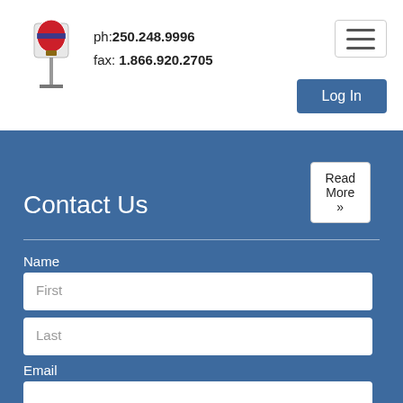ph: 250.248.9996  fax: 1.866.920.2705
Read More »
Contact Us
Name
First
Last
Email
Phone
Your Message